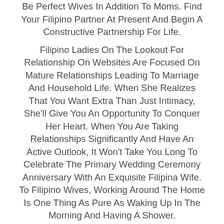Be Perfect Wives In Addition To Moms. Find Your Filipino Partner At Present And Begin A Constructive Partnership For Life.
Filipino Ladies On The Lookout For Relationship On Websites Are Focused On Mature Relationships Leading To Marriage And Household Life. When She Realizes That You Want Extra Than Just Intimacy, She'll Give You An Opportunity To Conquer Her Heart. When You Are Taking Relationships Significantly And Have An Active Outlook, It Won't Take You Long To Celebrate The Primary Wedding Ceremony Anniversary With An Exquisite Filipina Wife. To Filipino Wives, Working Around The Home Is One Thing As Pure As Waking Up In The Morning And Having A Shower.
Where To Find Out Every Thing There's To Know About Filipina